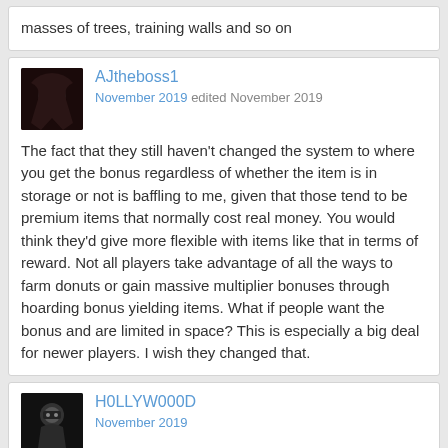masses of trees, training walls and so on
AJtheboss1
November 2019 edited November 2019
The fact that they still haven't changed the system to where you get the bonus regardless of whether the item is in storage or not is baffling to me, given that those tend to be premium items that normally cost real money. You would think they'd give more flexible with items like that in terms of reward. Not all players take advantage of all the ways to farm donuts or gain massive multiplier bonuses through hoarding bonus yielding items. What if people want the bonus and are limited in space? This is especially a big deal for newer players. I wish they changed that.
H0LLYW000D
November 2019
AJtheboss1 wrote: »